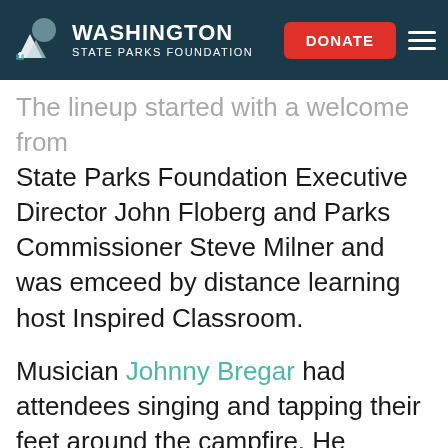WASHINGTON STATE PARKS FOUNDATION | DONATE
The lineup started with a welcome from State Parks Foundation Executive Director John Floberg and Parks Commissioner Steve Milner and was emceed by distance learning host Inspired Classroom.
Musician Johnny Bregar had attendees singing and tapping their feet around the campfire. He provided lyrics so that you can sing-along.
Parks educators Alysa Adams and Kevin Lieske offered presentations of the